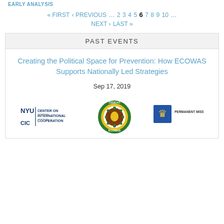EARLY ANALYSIS
« FIRST ‹ PREVIOUS … 2 3 4 5 6 7 8 9 10 … NEXT › LAST »
PAST EVENTS
Creating the Political Space for Prevention: How ECOWAS Supports Nationally Led Strategies
Sep 17, 2019
[Figure (logo): NYU CIC (Center on International Cooperation) logo, ECOWAS logo (circular green/yellow/red emblem), Permanent Mission of Norway logo]
NYU | CENTER ON INTERNATIONAL COOPERATION CIC | PERMANENT MISSION OF NORWAY